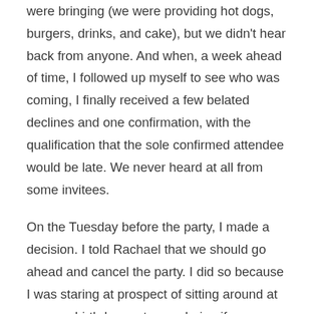were bringing (we were providing hot dogs, burgers, drinks, and cake), but we didn't hear back from anyone. And when, a week ahead of time, I followed up myself to see who was coming, I finally received a few belated declines and one confirmation, with the qualification that the sole confirmed attendee would be late. We never heard at all from some invitees.
On the Tuesday before the party, I made a decision. I told Rachael that we should go ahead and cancel the party. I did so because I was staring at prospect of sitting around at my own birthday party wondering if anyone would be there.
I should hasten to add a couple of things. One, I don't have